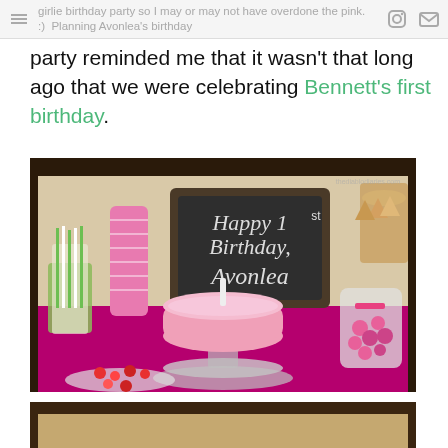girlie birthday party so I may or may not have overdone the pink. :)  Planning Avonlea's birthday
party reminded me that it wasn't that long ago that we were celebrating Bennett's first birthday.
[Figure (photo): Party table with a pink birthday cake on a glass stand, a chalkboard sign reading 'Happy 1st Birthday, Avonlea', pink cups, green striped straws, candy jars, ice cream cones on a stand, all on a magenta tablecloth]
[Figure (photo): Bottom portion of another party photo, partially visible]